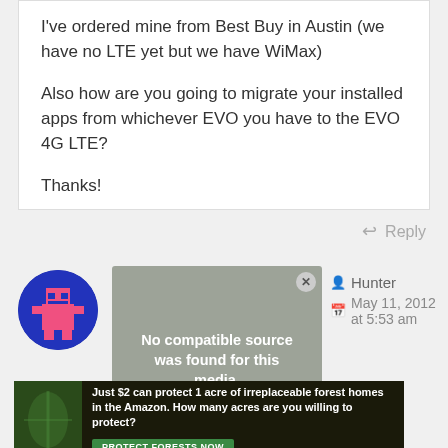I've ordered mine from Best Buy in Austin (we have no LTE yet but we have WiMax)

Also how are you going to migrate your installed apps from whichever EVO you have to the EVO 4G LTE?

Thanks!
Reply
[Figure (illustration): Blue circular avatar with pink/coral pixelated robot or character icon]
[Figure (screenshot): Video player overlay showing 'No compatible source was found for this media.' with a dark semi-transparent background]
Hunter
May 11, 2012 at 5:53 am
[Figure (photo): Advertisement banner: 'Just $2 can protect 1 acre of irreplaceable forest homes in the Amazon. How many acres are you willing to protect?' with PROTECT FORESTS NOW button on dark background with forest imagery]
SAMSUNG GALAXY Z FLIP3 UNBOXING